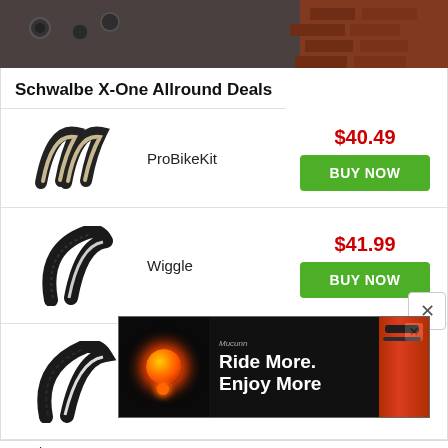[Figure (photo): Partial top banner image showing dark metallic surface and brick wall background]
Schwalbe X-One Allround Deals
[Figure (photo): Schwalbe bicycle tire (cross/cyclocross tire) - ProBikeKit listing image]
ProBikeKit
$40.49
BUY NOW
[Figure (photo): Schwalbe bicycle tire (cross/cyclocross tire) - Wiggle listing image]
Wiggle
$41.99
BUY NOW
[Figure (photo): Schwalbe bicycle tire (cross/cyclocross tire) - Chain Reaction Cycles listing image]
Chain Reaction Cycles
$41.99
BUY NOW
Desig
spee
[Figure (photo): Advertisement overlay: Ride More. Enjoy More. - with bicycle light product image]
Ride More.
Enjoy More